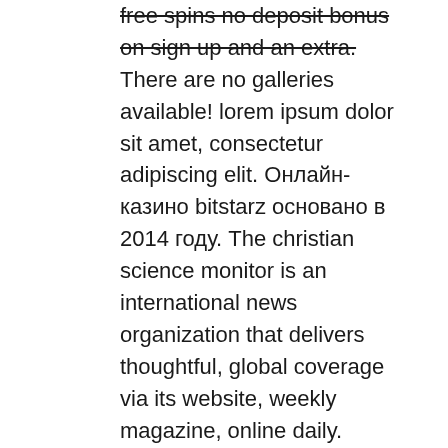free spins no deposit bonus on sign up and an extra. There are no galleries available! lorem ipsum dolor sit amet, consectetur adipiscing elit. Онлайн-казино bitstarz основано в 2014 году. The christian science monitor is an international news organization that delivers thoughtful, global coverage via its website, weekly magazine, online daily. Обзор онлайн-казино bitstarz - первое биткоин-казино - более 2000 онлайн-слотов, live-игры, джекпоты, игры с btc - 20 фриспинов за регистрацию - бонусы на 4. Несколько недель назад один из наших информаторов решил попробовать силы в криптовалютном казино bitstarz, поскольку знаком с индустрией. Bitstarz casino — популярный игорный ресурс с отменными